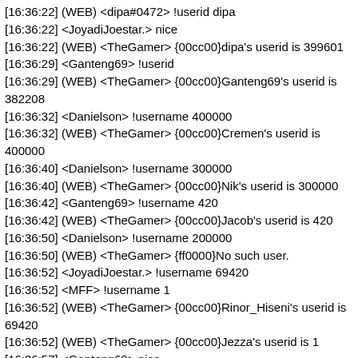[16:36:22] (WEB) <dipa#0472> !userid dipa
[16:36:22] <JoyadiJoestar.> nice
[16:36:22] (WEB) <TheGamer> {00cc00}dipa's userid is 399601
[16:36:29] <Ganteng69> !userid
[16:36:29] (WEB) <TheGamer> {00cc00}Ganteng69's userid is 382208
[16:36:32] <Danielson> !username 400000
[16:36:32] (WEB) <TheGamer> {00cc00}Cremen's userid is 400000
[16:36:40] <Danielson> !username 300000
[16:36:40] (WEB) <TheGamer> {00cc00}Nik's userid is 300000
[16:36:42] <Ganteng69> !username 420
[16:36:42] (WEB) <TheGamer> {00cc00}Jacob's userid is 420
[16:36:50] <Danielson> !username 200000
[16:36:50] (WEB) <TheGamer> {ff0000}No such user.
[16:36:52] <JoyadiJoestar.> !username 69420
[16:36:52] <MFF> !username 1
[16:36:52] (WEB) <TheGamer> {00cc00}Rinor_Hiseni's userid is 69420
[16:36:52] (WEB) <TheGamer> {00cc00}Jezza's userid is 1
[16:36:57] <Ganteng69> nice
[16:37:08] <Shazi> !username 666
[16:37:08] (WEB) <TheGamer> {00cc00}Devil's userid is 666
[16:37:13] <Ganteng69> wow
[16:37:18] <Ouro> wasn't aaron number 1?